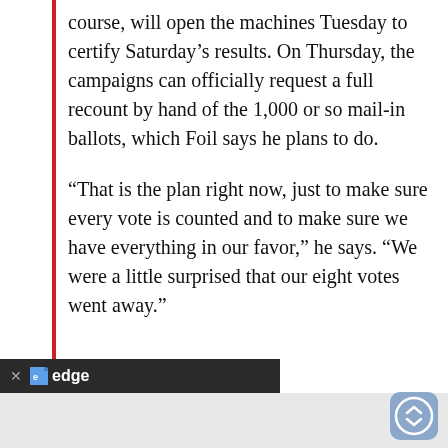course, will open the machines Tuesday to certify Saturday's results. On Thursday, the campaigns can officially request a full recount by hand of the 1,000 or so mail-in ballots, which Foil says he plans to do.
“That is the plan right now, just to make sure every vote is counted and to make sure we have everything in our favor,” he says. “We were a little surprised that our eight votes went away.”
[Figure (screenshot): Browser bar at bottom of screen showing 'edge' browser label with close button and scroll indicator icon]